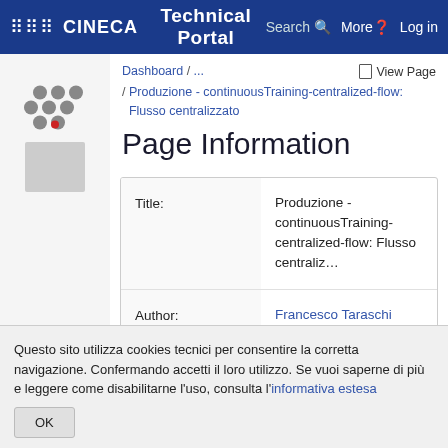⠿⠿⠿ CINECA Technical Portal Search More? Log in
Dashboard / ...   View Page
/ Produzione - continuousTraining-centralized-flow: Flusso centralizzato
Page Information
| Field | Value |
| --- | --- |
| Title: | Produzione - continuousTraining-centralized-flow: Flusso centralizzato |
| Author: | Francesco Taraschi |
Questo sito utilizza cookies tecnici per consentire la corretta navigazione. Confermando accetti il loro utilizzo. Se vuoi saperne di più e leggere come disabilitarne l'uso, consulta l'informativa estesa OK